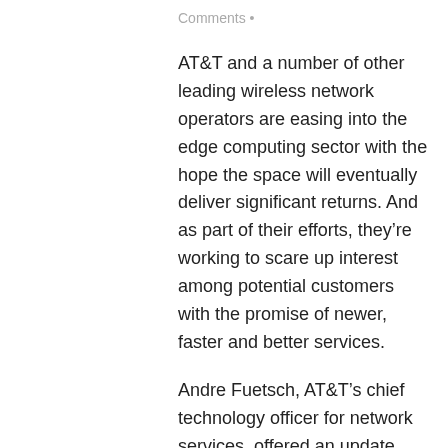Comments •
AT&T and a number of other leading wireless network operators are easing into the edge computing sector with the hope the space will eventually deliver significant returns. And as part of their efforts, they're working to scare up interest among potential customers with the promise of newer, faster and better services.
Andre Fuetsch, AT&T's chief technology officer for network services, offered an update today on how the technology might be applied in a post-COVID-19 world.
“One of the use cases we’re working on is looking at how to use computer vision